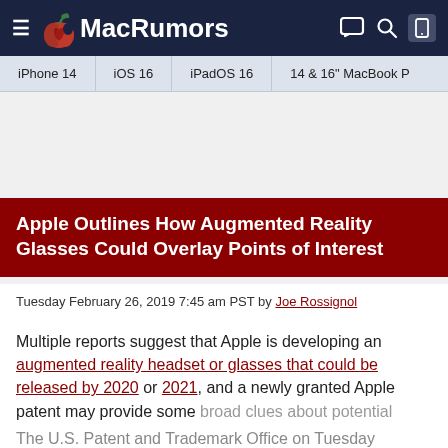MacRumors
iPhone 14
iOS 16
iPadOS 16
14 & 16" MacBook P
Apple Outlines How Augmented Reality Glasses Could Overlay Points of Interest
Tuesday February 26, 2019 7:45 am PST by Joe Rossignol
Multiple reports suggest that Apple is developing an augmented reality headset or glasses that could be released by 2020 or 2021, and a newly granted Apple patent may provide some broad clues about potential features.
The U.S. Patent and Trademark Office on Tuesday granted